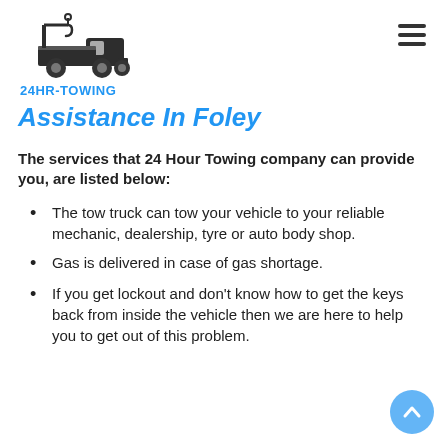[Figure (logo): 24HR-TOWING logo with tow truck icon in dark/black color and blue text label '24HR-TOWING']
Assistance In Foley
The services that 24 Hour Towing company can provide you, are listed below:
The tow truck can tow your vehicle to your reliable mechanic, dealership, tyre or auto body shop.
Gas is delivered in case of gas shortage.
If you get lockout and don't know how to get the keys back from inside the vehicle then we are here to help you to get out of this problem.